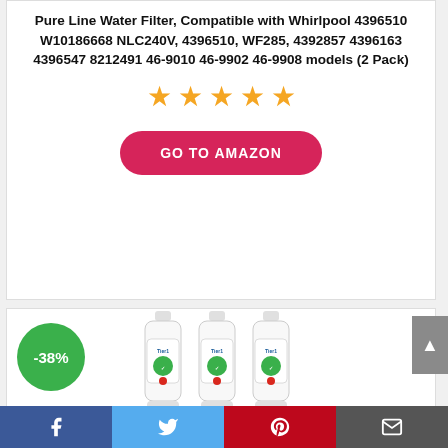Pure Line Water Filter, Compatible with Whirlpool 4396510 W10186668 NLC240V, 4396510, WF285, 4392857 4396163 4396547 8212491 46-9010 46-9902 46-9908 models (2 Pack)
[Figure (other): Five orange star rating icons]
GO TO AMAZON
[Figure (photo): Three Tier1 refrigerator water filter bottles with green -38% discount badge]
Facebook | Twitter | Pinterest | Email